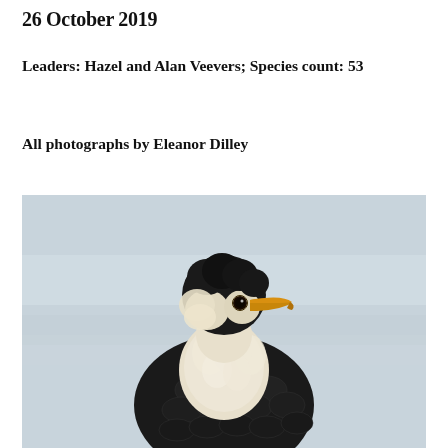26 October 2019
Leaders: Hazel and Alan Veevers; Species count: 53
All photographs by Eleanor Dilley
[Figure (photo): Close-up photograph of a cormorant bird (likely a Little Pied Cormorant) with black and white plumage, fluffy white-cream chest feathers, a dark cap on its head, and a yellow-orange beak, photographed against a blurred light blue-grey background.]